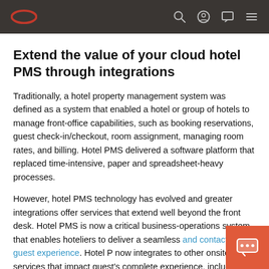Oracle logo and navigation bar with search, account, chat, and menu icons
Extend the value of your cloud hotel PMS through integrations
Traditionally, a hotel property management system was defined as a system that enabled a hotel or group of hotels to manage front-office capabilities, such as booking reservations, guest check-in/checkout, room assignment, managing room rates, and billing. Hotel PMS delivered a software platform that replaced time-intensive, paper and spreadsheet-heavy processes.
However, hotel PMS technology has evolved and greater integrations offer services that extend well beyond the front desk. Hotel PMS is now a critical business-operations system that enables hoteliers to deliver a seamless and contactless guest experience. Hotel P now integrates to other onsite services that impact guest's complete experience, including.